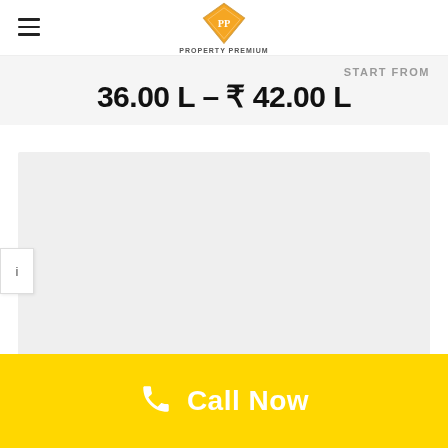Property Premium
START FROM
36.00 L – ₹ 42.00 L
[Figure (other): Gray placeholder content area]
i
Call Now